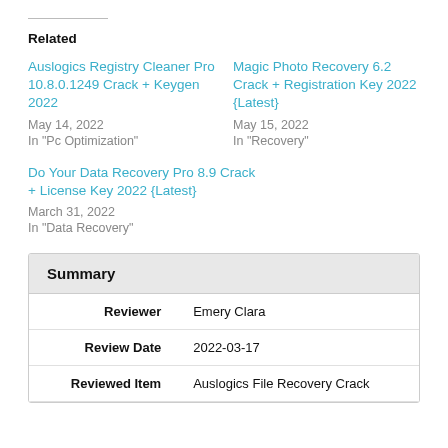Related
Auslogics Registry Cleaner Pro 10.8.0.1249 Crack + Keygen 2022
May 14, 2022
In "Pc Optimization"
Magic Photo Recovery 6.2 Crack + Registration Key 2022 {Latest}
May 15, 2022
In "Recovery"
Do Your Data Recovery Pro 8.9 Crack + License Key 2022 {Latest}
March 31, 2022
In "Data Recovery"
|  |  |
| --- | --- |
| Summary |  |
| Reviewer | Emery Clara |
| Review Date | 2022-03-17 |
| Reviewed Item | Auslogics File Recovery Crack |